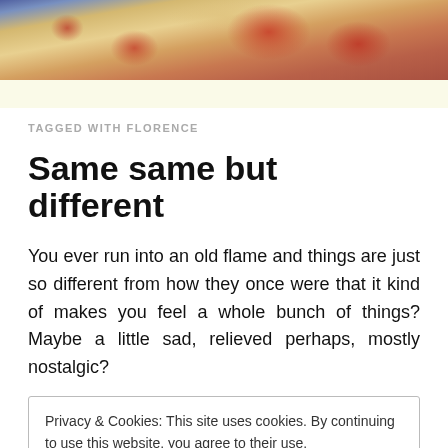[Figure (photo): Food photo banner showing spaghetti with tomatoes and other ingredients on a decorative blue and white plate/bowl]
TAGGED WITH FLORENCE
Same same but different
You ever run into an old flame and things are just so different from how they once were that it kind of makes you feel a whole bunch of things? Maybe a little sad, relieved perhaps, mostly nostalgic?
Privacy & Cookies: This site uses cookies. By continuing to use this website, you agree to their use.
To find out more, including how to control cookies, see here: Cookie Policy
Maybe it's you, maybe you've changed. Either way, it's not